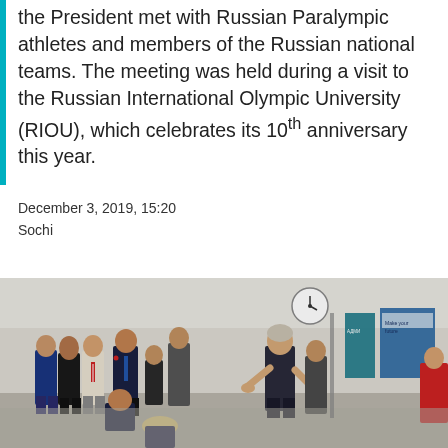the President met with Russian Paralympic athletes and members of the Russian national teams. The meeting was held during a visit to the Russian International Olympic University (RIOU), which celebrates its 10th anniversary this year.
December 3, 2019, 15:20
Sochi
[Figure (photo): Group photo showing a meeting between a prominent figure (gesturing with hands) and a group of people including athletes and officials in a modern indoor space, with banners and a clock visible in the background.]